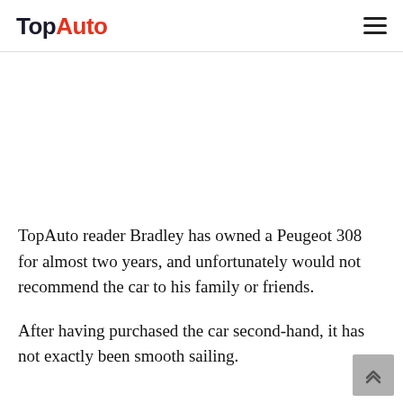TopAuto
[Figure (other): Empty white image placeholder area below the header]
TopAuto reader Bradley has owned a Peugeot 308 for almost two years, and unfortunately would not recommend the car to his family or friends.
After having purchased the car second-hand, it has not exactly been smooth sailing.